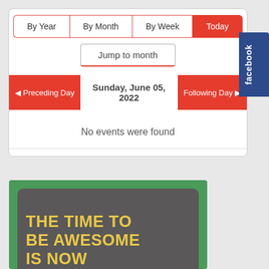[Figure (screenshot): Calendar widget with navigation buttons: By Year, By Month, By Week, Today (active/red). Jump to month button. Navigation bar showing Preceding Day | Sunday, June 05, 2022 | Following Day. Message: No events were found.]
[Figure (infographic): Green background with dark gray rounded card containing bold yellow text: THE TIME TO BE AWESOME IS NOW (partially visible)]